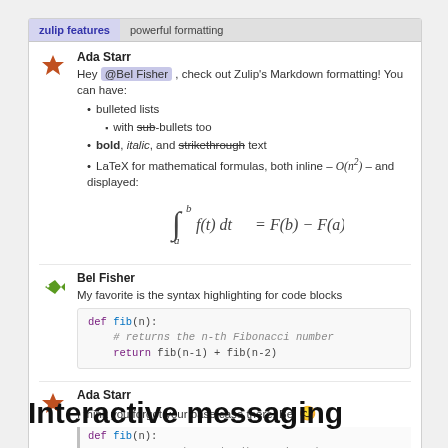zulip features | powerful formatting
Ada Starr
Hey @Bel Fisher, check out Zulip's Markdown formatting! You can have:
bulleted lists
with sub-bullets too
bold, italic, and strikethrough text
LaTeX for mathematical formulas, both inline – O(n²) – and displayed:
Bel Fisher
My favorite is the syntax highlighting for code blocks
def fib(n):
    # returns the n-th Fibonacci number
    return fib(n-1) + fib(n-2)
Ada Starr
I think you forgot your base case there, Bel 😊
def fib(n):
    # returns the n-th Fibonacci number
    return fib(n-1) + fib(n-2)
Interactive messaging